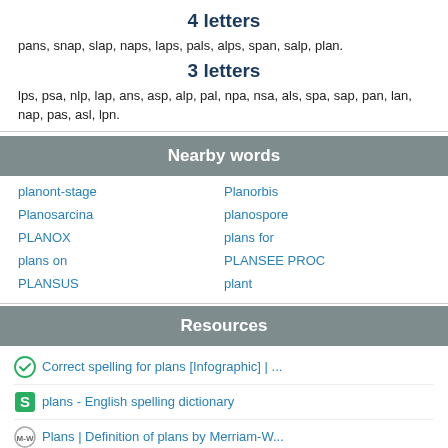4 letters
pans, snap, slap, naps, laps, pals, alps, span, salp, plan.
3 letters
lps, psa, nlp, lap, ans, asp, alp, pal, npa, nsa, als, spa, sap, pan, lan, nap, pas, asl, lpn.
Nearby words
planont-stage
Planorbis
Planosarcina
planospore
PLANOX
plans for
plans on
PLANSEE PROC
PLANSUS
plant
Resources
Correct spelling for plans [Infographic] | ...
plans - English spelling dictionary
Plans | Definition of plans by Merriam-W...